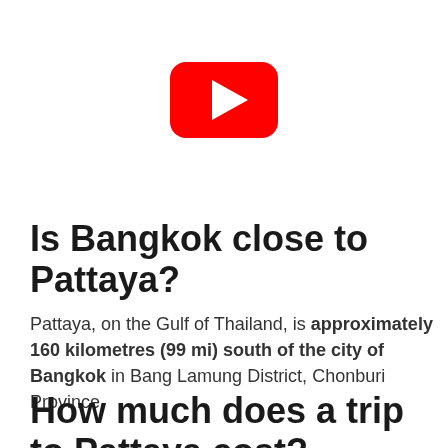[Figure (logo): YouTube play button logo — red rounded rectangle with white triangle play icon]
Is Bangkok close to Pattaya?
Pattaya, on the Gulf of Thailand, is approximately 160 kilometres (99 mi) south of the city of Bangkok in Bang Lamung District, Chonburi Province.
How much does a trip to Pattaya cost?